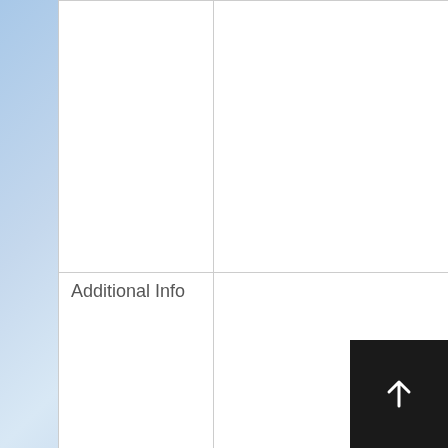|  | resume, with references, and cover letter to fbctroytx@fbctroytx.c Job description available on request from fbctroytx@fbctroytx.c |
| Additional Info | First Baptist Church of Troy has an immediate opening for a part-time youth minister. This position is for 20 |